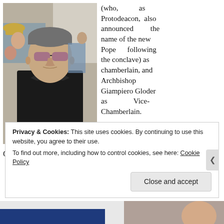[Figure (photo): Photograph of a man wearing black clerical attire with a white collar, dark sunglasses, outdoors in a crowd setting]
(who, as Protodeacon, also announced the name of the new Pope following the conclave) as chamberlain, and Archbishop Giampiero Gloder as Vice-Chamberlain.
Cardinal T... (partially visible text cut off by cookie banner)
Privacy & Cookies: This site uses cookies. By continuing to use this website, you agree to their use.
To find out more, including how to control cookies, see here: Cookie Policy
Close and accept